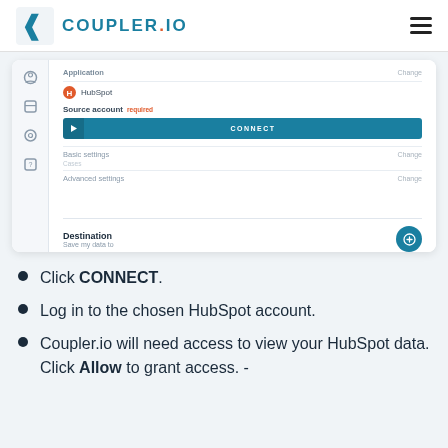COUPLER.IO
[Figure (screenshot): Coupler.io application interface showing a data import setup with Application set to HubSpot, a Source account section with a CONNECT button, Basic settings, Advanced settings, and a Destination section with a Save my data to label.]
Click CONNECT.
Log in to the chosen HubSpot account.
Coupler.io will need access to view your HubSpot data. Click Allow to grant access.